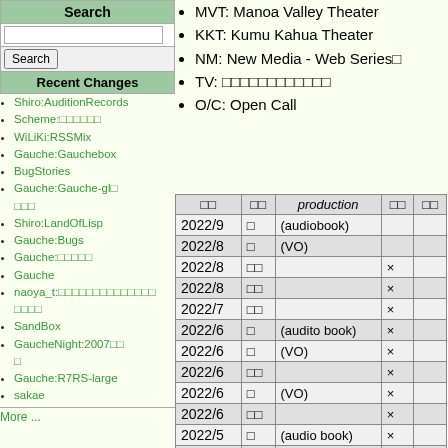MVT: Manoa Valley Theater
KKT: Kumu Kahua Theater
NM: New Media - Web Series□
TV: □□□□□□□□□□□□
O/C: Open Call
Search
Recent Changes
Shiro:AuditionRecords
Scheme:□□□□□□
WiLiKi:RSSMix
Gauche:Gauchebox
BugStories
Gauche:Gauche-gl□□□□
Shiro:LandOfLisp
Gauche:Bugs
Gauche:□□□□□
Gauche
naoya_t:□□□□□□□□□□□□□□□□
SandBox
GaucheNight:2007□□□
Gauche:R7RS-large
sakae
More ...
| □□ | □□ | production | □□ | □□ |
| --- | --- | --- | --- | --- |
| 2022/9 | □ | (audiobook) |  |  |
| 2022/8 | □ | (VO) |  |  |
| 2022/8 | □□ |  | × |  |
| 2022/8 | □□ |  | × |  |
| 2022/7 | □□ |  | × |  |
| 2022/6 | □ | (audito book) | × |  |
| 2022/6 | □ | (VO) | × |  |
| 2022/6 | □□ |  | × |  |
| 2022/6 | □ | (VO) | × |  |
| 2022/6 | □□ |  | × |  |
| 2022/5 | □ | (audio book) | × |  |
| 2022/5 | □ | (VO for app) | × |  |
| 2022/5 | TV |  | × |  |
| 2022/5 | □□ |  | ○ |  |
| 2022/4 | □ | (audio book) | × |  |